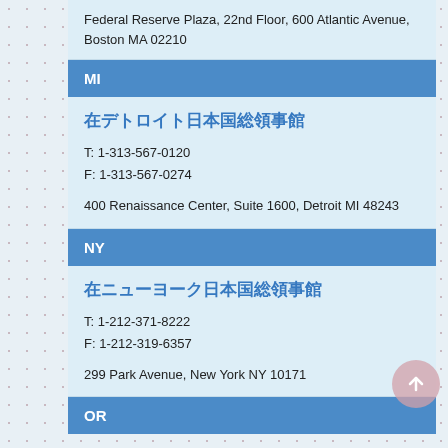Federal Reserve Plaza, 22nd Floor, 600 Atlantic Avenue, Boston MA 02210
MI
在デトロイト日本国総領事館
T: 1-313-567-0120
F: 1-313-567-0274
400 Renaissance Center, Suite 1600, Detroit MI 48243
NY
在ニューヨーク日本国総領事館
T: 1-212-371-8222
F: 1-212-319-6357
299 Park Avenue, New York NY 10171
OR